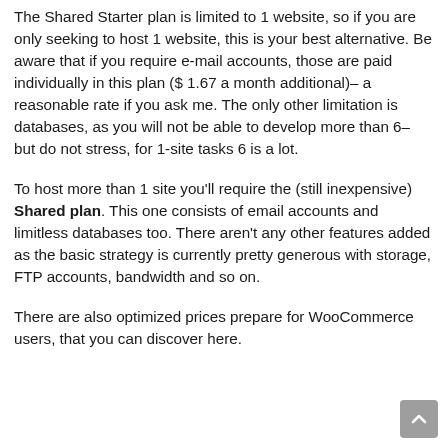The Shared Starter plan is limited to 1 website, so if you are only seeking to host 1 website, this is your best alternative. Be aware that if you require e-mail accounts, those are paid individually in this plan ($ 1.67 a month additional)– a reasonable rate if you ask me. The only other limitation is databases, as you will not be able to develop more than 6– but do not stress, for 1-site tasks 6 is a lot.
To host more than 1 site you'll require the (still inexpensive) Shared plan. This one consists of email accounts and limitless databases too. There aren't any other features added as the basic strategy is currently pretty generous with storage, FTP accounts, bandwidth and so on.
There are also optimized prices prepare for WooCommerce users, that you can discover here.